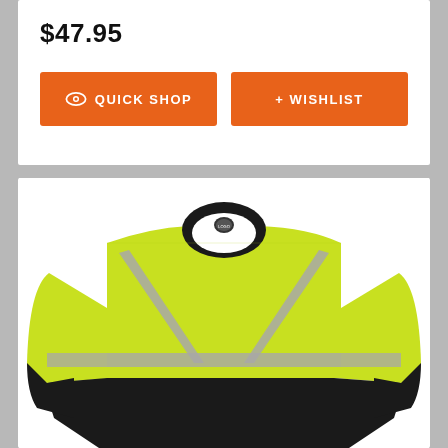$47.95
QUICK SHOP
+ WISHLIST
[Figure (photo): High-visibility safety long-sleeve sweatshirt in lime yellow with black bottom panel, reflective gray stripes crossing the chest in an X pattern, and a black crew neck collar with a small logo badge. The garment is displayed flat/ghost-mannequin style on a white background.]